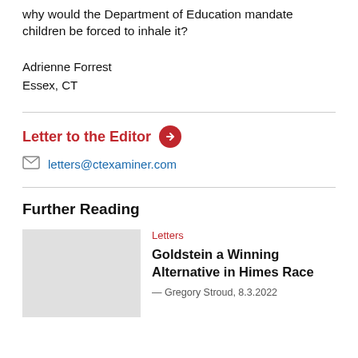why would the Department of Education mandate children be forced to inhale it?
Adrienne Forrest
Essex, CT
Letter to the Editor
letters@ctexaminer.com
Further Reading
Letters
Goldstein a Winning Alternative in Himes Race
— Gregory Stroud, 8.3.2022